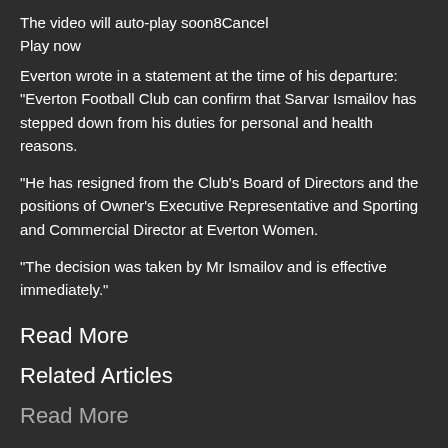The video will auto-play soon8Cancel
Play now
Everton wrote in a statement at the time of his departure: "Everton Football Club can confirm that Sarvar Ismailov has stepped down from his duties for personal and health reasons.
"He has resigned from the Club's Board of Directors and the positions of Owner's Executive Representative and Sporting and Commercial Director at Everton Women.
"The decision was taken by Mr Ismailov and is effective immediately."
Read More
Related Articles
Read More